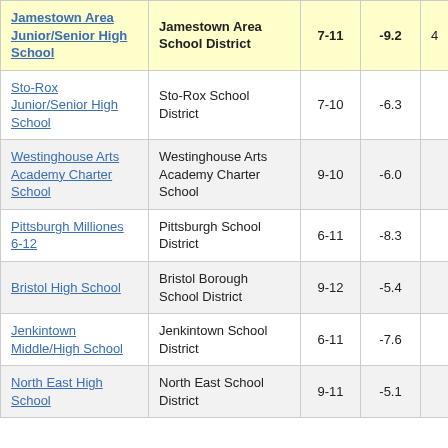| School | District | Grades | Score |  |
| --- | --- | --- | --- | --- |
| Jamestown Area Junior/Senior High School | Jamestown Area School District | 7-11 | -9.2 | 4 |
| Sto-Rox Junior/Senior High School | Sto-Rox School District | 7-10 | -6.3 |  |
| Westinghouse Arts Academy Charter School | Westinghouse Arts Academy Charter School | 9-10 | -6.0 |  |
| Pittsburgh Milliones 6-12 | Pittsburgh School District | 6-11 | -8.3 |  |
| Bristol High School | Bristol Borough School District | 9-12 | -5.4 |  |
| Jenkintown Middle/High School | Jenkintown School District | 6-11 | -7.6 |  |
| North East High School | North East School District | 9-11 | -5.1 |  |